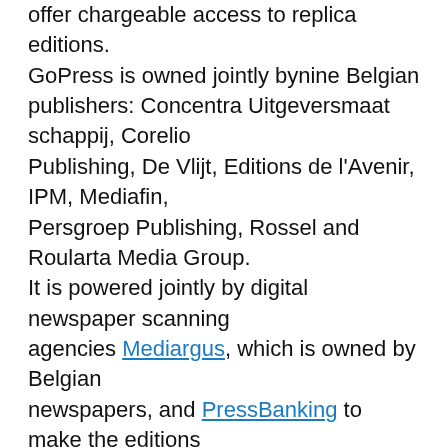offer chargeable access to replica editions. GoPress is owned jointly by nine Belgian publishers: Concentra Uitgeversmaat schappij, Corelio Publishing, De Vlijt, Editions de l'Avenir, IPM, Mediafin, Persgroep Publishing, Rossel and Roularta Media Group. It is powered jointly by digital newspaper scanning agencies Mediargus, which is owned by Belgian newspapers, and PressBanking to make the editions available as HTML5 across multiple devices. But editions, 32 of which are so far available, are priced individually rather than with a single pricepoint for the whole kaboodle. All of which makes GoPress not unlike PressReader, the digital replica clearing house that stocks more than 2,100 newspaper editions and which nevertheless includes both individual and all-in monthly subscription Users can authenticate using Twitter, Facebook and